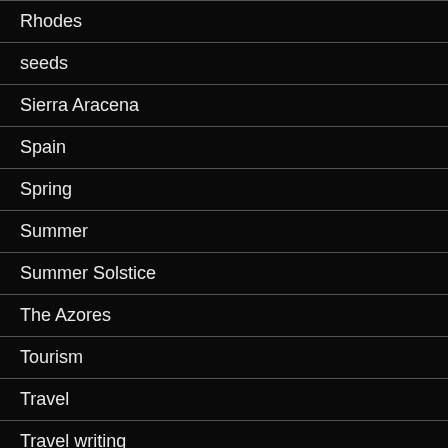Rhodes
seeds
Sierra Aracena
Spain
Spring
Summer
Summer Solstice
The Azores
Tourism
Travel
Travel writing
trees
U